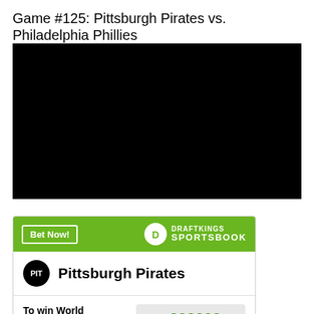Game #125: Pittsburgh Pirates vs. Philadelphia Phillies
[Figure (other): Black video player embed area]
[Figure (other): DraftKings Sportsbook betting widget showing Pittsburgh Pirates odds to win World Series at +200000]